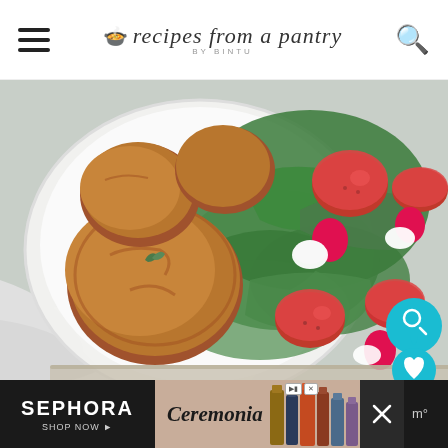recipes from a pantry BY BINTU
[Figure (photo): Overhead view of a white bowl containing golden-brown baked potato/meatball type items garnished with herbs, alongside fresh spinach leaves, halved cherry tomatoes, and sliced radishes on a light background with white cloth napkin.]
[Figure (screenshot): Sephora and Ceremonia advertisement banner at the bottom of the page.]